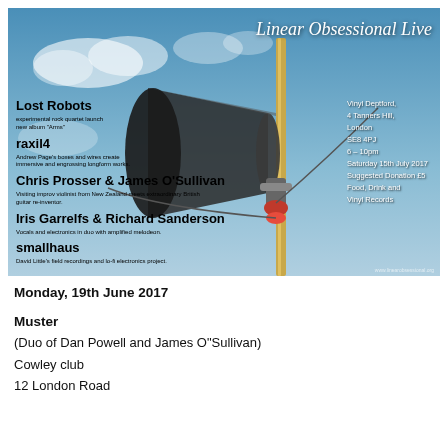[Figure (photo): Event poster for Linear Obsessional Live showing a megaphone/loudspeaker mounted on a pole against a blue sky with clouds. Left side lists acts: Lost Robots, raxil4, Chris Prosser & James O'Sullivan, Iris Garrelfs & Richard Sanderson, smallhaus. Right side shows venue details: Vinyl Deptford, 4 Tanners Hill, London SE8 4PJ, 6-10pm, Saturday 15th July 2017, Suggested Donation £5, Food, Drink and Vinyl Records. Title reads 'Linear Obsessional Live' in top right.]
Monday, 19th June 2017
Muster
(Duo of Dan Powell and James O"Sullivan)
Cowley club
12 London Road